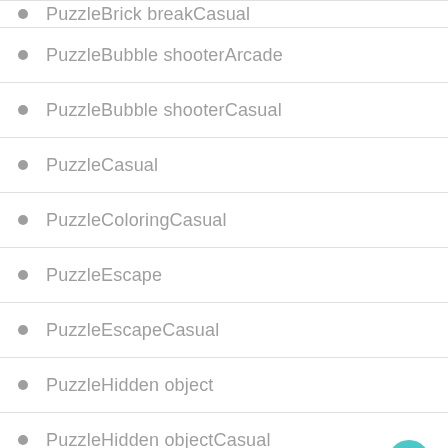PuzzleBrick breakCasual
PuzzleBubble shooterArcade
PuzzleBubble shooterCasual
PuzzleCasual
PuzzleColoringCasual
PuzzleEscape
PuzzleEscapeCasual
PuzzleHidden object
PuzzleHidden objectCasual
PuzzleJigsawCasual